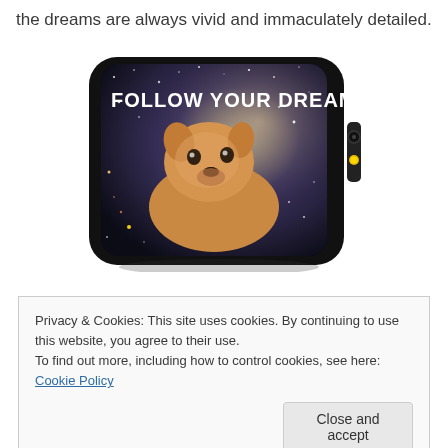the dreams are always vivid and immaculately detailed.
[Figure (photo): A phone case showing a Shiba Inu dog (Doge meme) against a galaxy/space background with the text 'FOLLOW YOUR DREAMS' in white bold letters at the top.]
Privacy & Cookies: This site uses cookies. By continuing to use this website, you agree to their use.
To find out more, including how to control cookies, see here: Cookie Policy
Close and accept